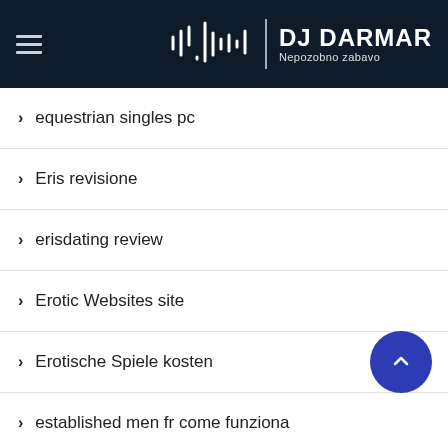DJ DARMAR – Nepozobno zabavo
equestrian singles pc
Eris revisione
erisdating review
Erotic Websites site
Erotische Spiele kosten
established men fr come funziona